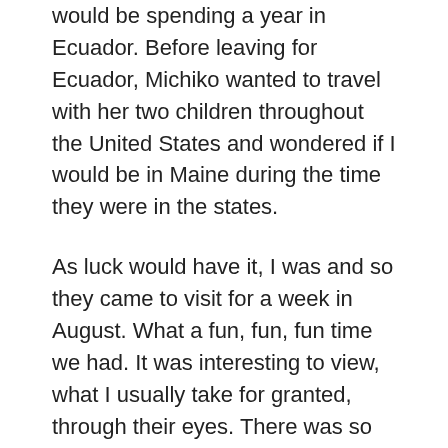would be spending a year in Ecuador. Before leaving for Ecuador, Michiko wanted to travel with her two children throughout the United States and wondered if I would be in Maine during the time they were in the states.
As luck would have it, I was and so they came to visit for a week in August. What a fun, fun, fun time we had. It was interesting to view, what I usually take for granted, through their eyes. There was so much that I wanted to show and do with them. Time passed very, very quickly.
When they arrived, the Perseid Meteor shower, which happens annually in August, was just winding down. Their first night, we sat in our backyard and watched the shooting stars, making tons of wishes. They were amazed to see all the stars. I live on a dead end street and there are no street lights, so we were able to see the